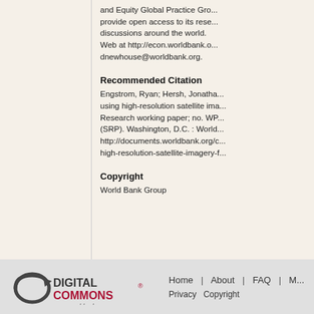and Equity Global Practice Group. The World Bank Research Observer provides open access to its research and makes it available for discussions around the world. Please visit the World Bank Open Knowledge Web at http://econ.worldbank.org. Please send feedback to dnewhouse@worldbank.org.
Recommended Citation
Engstrom, Ryan; Hersh, Jonathan ... using high-resolution satellite imagery ... Research working paper; no. WP ... (SRP). Washington, D.C. : World Bank ... http://documents.worldbank.org/c... high-resolution-satellite-imagery-f...
Copyright
World Bank Group
[Figure (logo): Digital Commons powered by bepress logo — stylized arrow/loop icon in dark gray with DIGITAL in dark gray and COMMONS in red, superscript registered mark, subtitle 'powered by bepress' in gray italic]
Home | About | FAQ | M... Privacy  Copyright